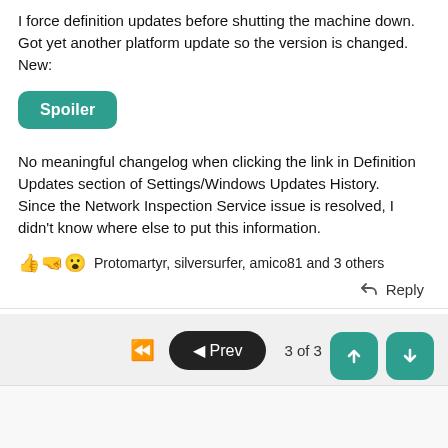I force definition updates before shutting the machine down. Got yet another platform update so the version is changed. New:
[Figure (other): Green 'Spoiler' button]
No meaningful changelog when clicking the link in Definition Updates section of Settings/Windows Updates History.
Since the Network Inspection Service issue is resolved, I didn't know where else to put this information.
👍🤜😮 Protomartyr, silversurfer, amico81 and 3 others
↩ Reply
«  ◄ Prev  3 of 3